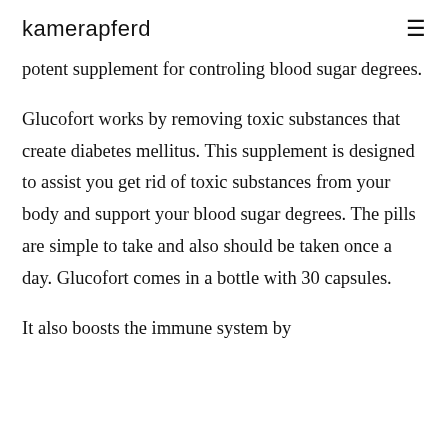kamerapferd
potent supplement for controling blood sugar degrees.
Glucofort works by removing toxic substances that create diabetes mellitus. This supplement is designed to assist you get rid of toxic substances from your body and support your blood sugar degrees. The pills are simple to take and also should be taken once a day. Glucofort comes in a bottle with 30 capsules.
It also boosts the immune system by